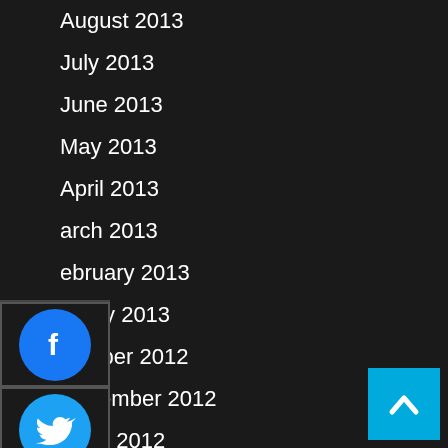August 2013
July 2013
June 2013
May 2013
April 2013
March 2013
February 2013
January 2013
December 2012
November 2012
October 2012
September 2012
August 2012
July 2012
[Figure (infographic): Social media share buttons: Facebook (blue circle with f), Twitter (blue circle with bird), Google+ (red circle with g+), LinkedIn (blue circle with in)]
[Figure (other): Back to top button - cyan/teal square with upward chevron arrow]